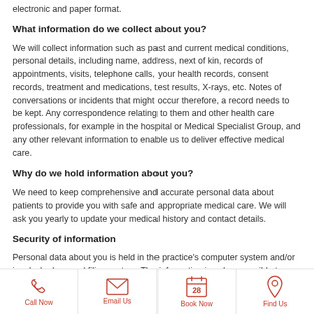electronic and paper format.
What information do we collect about you?
We will collect information such as past and current medical conditions, personal details, including name, address, next of kin, records of appointments, visits, telephone calls, your health records, consent records, treatment and medications, test results, X-rays, etc. Notes of conversations or incidents that might occur therefore, a record needs to be kept. Any correspondence relating to them and other health care professionals, for example in the hospital or Medical Specialist Group, and any other relevant information to enable us to deliver effective medical care.
Why do we hold information about you?
We need to keep comprehensive and accurate personal data about patients to provide you with safe and appropriate medical care. We will ask you yearly to update your medical history and contact details.
Security of information
Personal data about you is held in the practice's computer system and/or in a locked manual filing system. The information is only accessible to authorized
Call Now | Email Us | Book Now | Find Us